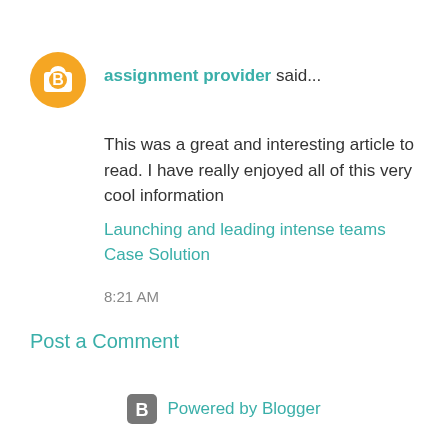assignment provider said...
This was a great and interesting article to read. I have really enjoyed all of this very cool information
Launching and leading intense teams Case Solution
8:21 AM
Post a Comment
Powered by Blogger